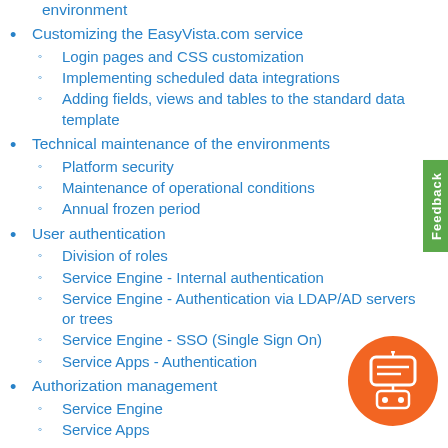environment
Customizing the EasyVista.com service
Login pages and CSS customization
Implementing scheduled data integrations
Adding fields, views and tables to the standard data template
Technical maintenance of the environments
Platform security
Maintenance of operational conditions
Annual frozen period
User authentication
Division of roles
Service Engine - Internal authentication
Service Engine - Authentication via LDAP/AD servers or trees
Service Engine - SSO (Single Sign On)
Service Apps - Authentication
Authorization management
Service Engine
Service Apps
Optional packs